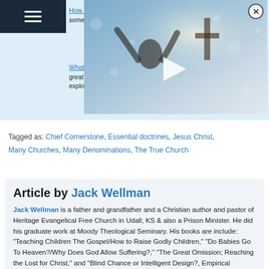How to Choose a Church: some great advice in this "ti..."
[Figure (screenshot): Video overlay showing a person with hands raised toward a cross against a bright sky, with a play button in the center and a close (X) button in the top right corner.]
What does the Bible Say a... great questions and answers to explore. Check this article o...
Tagged as: Chief Cornerstone, Essential doctrines, Jesus Christ, Many Churches, Many Denominations, The True Church
Article by Jack Wellman
Jack Wellman is a father and grandfather and a Christian author and pastor of Heritage Evangelical Free Church in Udall, KS & also a Prison Minister. He did his graduate work at Moody Theological Seminary. His books are include: "Teaching Children The Gospel/How to Raise Godly Children," "Do Babies Go To Heaven?/Why Does God Allow Suffering?," "The Great Omission; Reaching the Lost for Christ," and "Blind Chance or Intelligent Design?, Empirical Methodologies..."